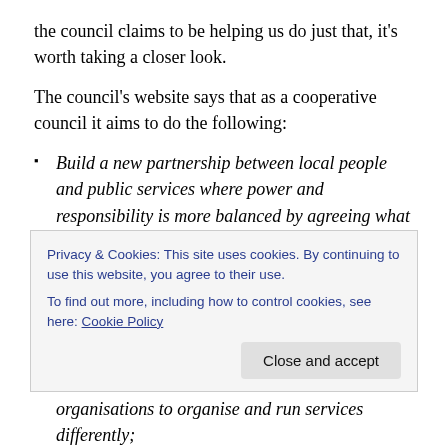the council claims to be helping us do just that, it's worth taking a closer look.
The council's website says that as a cooperative council it aims to do the following:
Build a new partnership between local people and public services where power and responsibility is more balanced by agreeing what we will provide and what communities will control for themselves;
Ensure that public services are of the best quality, offer value for money and give local people and local organisations to organise and run services differently;
Privacy & Cookies: This site uses cookies. By continuing to use this website, you agree to their use.
To find out more, including how to control cookies, see here: Cookie Policy